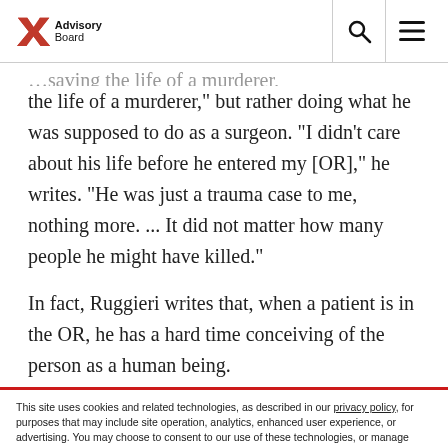Advisory Board
the life of a murderer," but rather doing what he was supposed to do as a surgeon. "I didn't care about his life before he entered my [OR]," he writes. "He was just a trauma case to me, nothing more. ... It did not matter how many people he might have killed."
In fact, Ruggieri writes that, when a patient is in the OR, he has a hard time conceiving of the person as a human being.
This site uses cookies and related technologies, as described in our privacy policy, for purposes that may include site operation, analytics, enhanced user experience, or advertising. You may choose to consent to our use of these technologies, or manage your own preferences.